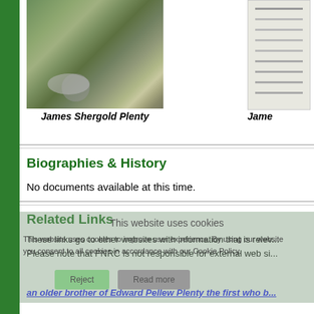[Figure (photo): Photo of James Shergold Plenty - outdoor scene with rocks and vegetation]
James Shergold Plenty
[Figure (other): Family tree document chart for James Plenty family]
Jame...
Biographies & History
No documents available at this time.
Related Links
This website uses cookies
This website uses cookies to improve user experience. By using our website you consent to all cookies in accordance with our Cookie Policy.
These links go to other websites with information that is relev... Please note that FNRC is not responsible for external web si...
an older brother of Edward Pellew Plenty the first who b...